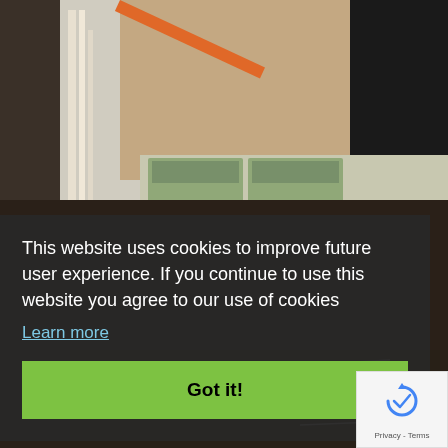[Figure (photo): A technician in a black shirt working on an open electrical control panel, using a screwdriver. The panel contains DIN rail-mounted components, wiring, terminal blocks, a toroidal transformer, and various electronic modules. Background shows industrial setting.]
This website uses cookies to improve future user experience. If you continue to use this website you agree to our use of cookies
Learn more
Got it!
[Figure (logo): reCAPTCHA logo with text 'Privacy - Terms']